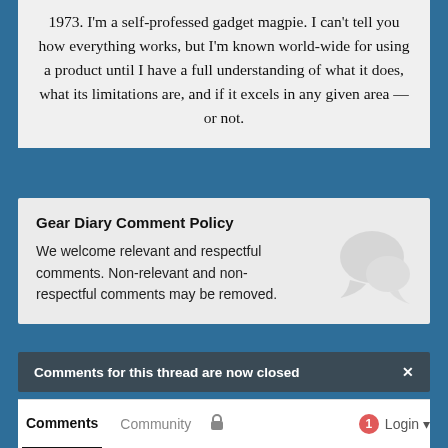1973. I'm a self-professed gadget magpie. I can't tell you how everything works, but I'm known world-wide for using a product until I have a full understanding of what it does, what its limitations are, and if it excels in any given area — or not.
Gear Diary Comment Policy
We welcome relevant and respectful comments. Non-relevant and non-respectful comments may be removed.
Comments for this thread are now closed
Comments  Community  🔒  1  Login